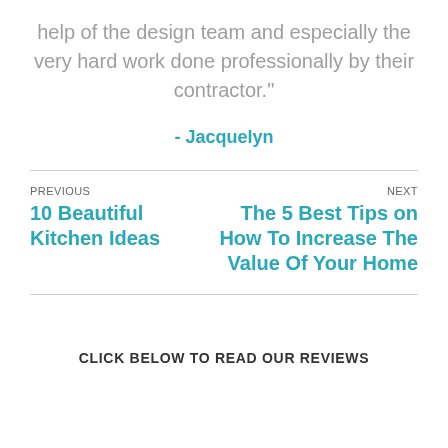help of the design team and especially the very hard work done professionally by their contractor."
- Jacquelyn
PREVIOUS
10 Beautiful Kitchen Ideas
NEXT
The 5 Best Tips on How To Increase The Value Of Your Home
CLICK BELOW TO READ OUR REVIEWS